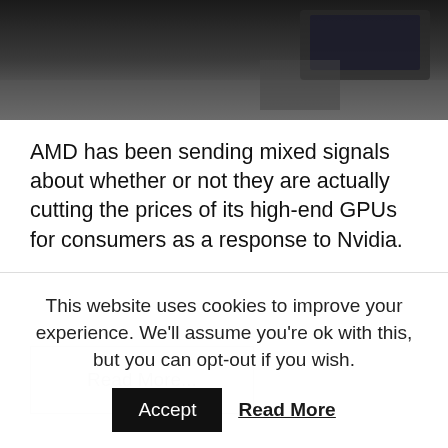[Figure (photo): Dark photograph showing a desk or surface with laptops/electronics, partially visible at the top of the page]
AMD has been sending mixed signals about whether or not they are actually cutting the prices of its high-end GPUs for consumers as a response to Nvidia.
Read More...
AUDIO/VIDEO, BUSINESS, ENTERTAINMENT, VR WORLD
This website uses cookies to improve your experience. We'll assume you're ok with this, but you can opt-out if you wish.
Accept
Read More